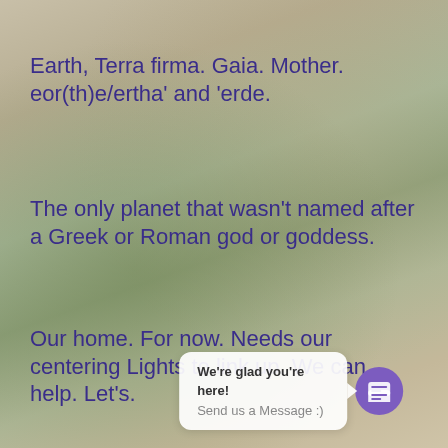Earth, Terra firma. Gaia. Mother. eor(th)e/ertha' and 'erde.
The only planet that wasn't named after a Greek or Roman god or goddess.
Our home. For now. Needs our centering Lights to link up. We can help. Let's.
We're glad you're here! Send us a Message :)